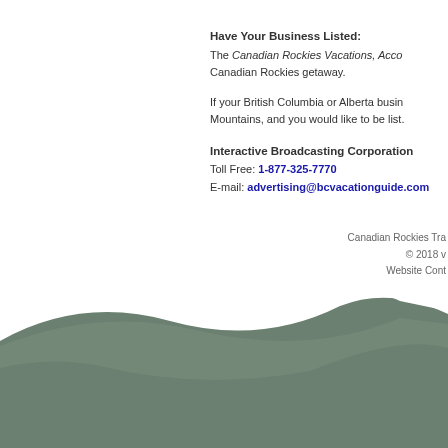Have Your Business Listed:
The Canadian Rockies Vacations, Acco... Canadian Rockies getaway.
If your British Columbia or Alberta busi... Mountains, and you would like to be list...
Interactive Broadcasting Corporation
Toll Free: 1-877-325-7770
E-mail: advertising@bcvacationguide.com
Canadian Rockies Tra... © 2018 w... Website Cont...